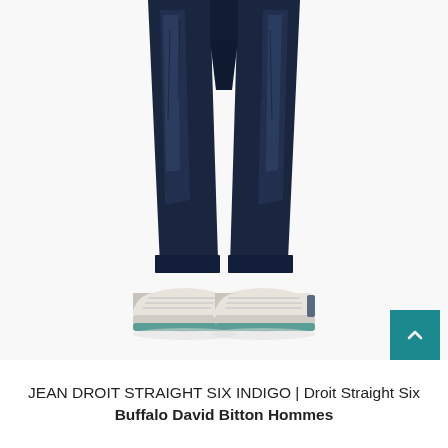[Figure (photo): Product photo showing lower half of a person wearing dark indigo straight-leg jeans and white low-top sneakers with teal/green soles, photographed on a white background.]
JEAN DROIT STRAIGHT SIX INDIGO | Droit Straight Six Buffalo David Bitton Hommes